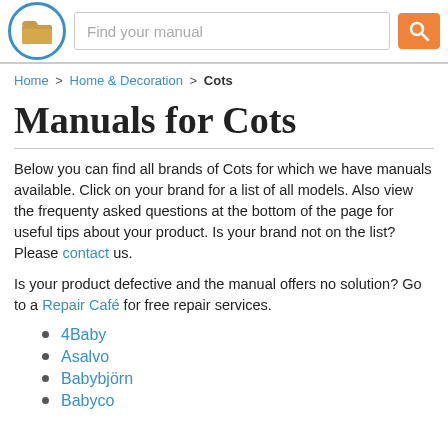Find your manual
Home > Home & Decoration > Cots
Manuals for Cots
Below you can find all brands of Cots for which we have manuals available. Click on your brand for a list of all models. Also view the frequenty asked questions at the bottom of the page for useful tips about your product. Is your brand not on the list? Please contact us.
Is your product defective and the manual offers no solution? Go to a Repair Café for free repair services.
4Baby
Asalvo
Babybjörn
Babyco